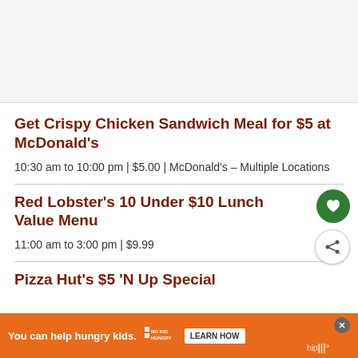[Figure (other): Gray placeholder image area at top of page]
Get Crispy Chicken Sandwich Meal for $5 at McDonald's
10:30 am to 10:00 pm | $5.00 | McDonald's – Multiple Locations
Red Lobster's 10 Under $10 Lunch Value Menu
11:00 am to 3:00 pm | $9.99
Pizza Hut's $5 'N Up Special
[Figure (other): Orange advertisement banner: 'You can help hungry kids.' with No Kid Hungry logo and LEARN HOW button]